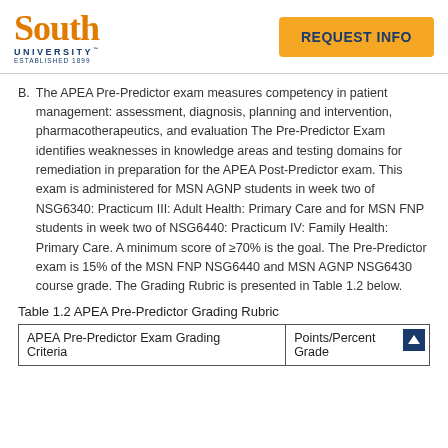South University — REQUEST INFO
B. The APEA Pre-Predictor exam measures competency in patient management: assessment, diagnosis, planning and intervention, pharmacotherapeutics, and evaluation The Pre-Predictor Exam identifies weaknesses in knowledge areas and testing domains for remediation in preparation for the APEA Post-Predictor exam. This exam is administered for MSN AGNP students in week two of NSG6340: Practicum III: Adult Health: Primary Care and for MSN FNP students in week two of NSG6440: Practicum IV: Family Health: Primary Care. A minimum score of ≥70% is the goal. The Pre-Predictor exam is 15% of the MSN FNP NSG6440 and MSN AGNP NSG6430 course grade. The Grading Rubric is presented in Table 1.2 below.
Table 1.2 APEA Pre-Predictor Grading Rubric
| APEA Pre-Predictor Exam Grading Criteria | Points/Percent Grade |
| --- | --- |